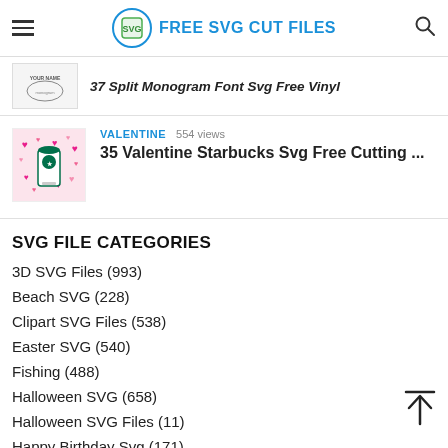FREE SVG CUT FILES
37 Split Monogram Font Svg Free Vinyl
VALENTINE  554 views
35 Valentine Starbucks Svg Free Cutting ...
SVG FILE CATEGORIES
3D SVG Files (993)
Beach SVG (228)
Clipart SVG Files (538)
Easter SVG (540)
Fishing (488)
Halloween SVG (658)
Halloween SVG Files (11)
Happy Birthday Svg (171)
Keychain SVG (42)